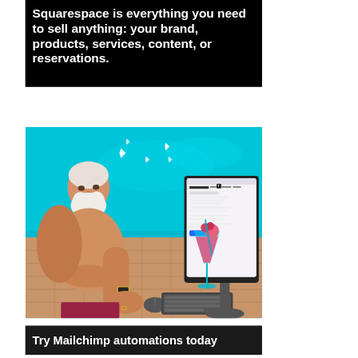Squarespace is everything you need to sell anything: your brand, products, services, content, or reservations.
[Figure (photo): An older shirtless man with white beard sitting by a swimming pool, using a desktop computer with keyboard and mouse. A colorful cocktail drink is visible next to the monitor. The pool water is bright teal in the background.]
Try Mailchimp automations today